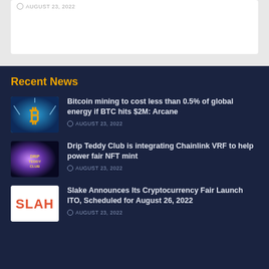AUGUST 23, 2022
Recent News
[Figure (photo): Bitcoin logo with lightning effects on blue background]
Bitcoin mining to cost less than 0.5% of global energy if BTC hits $2M: Arcane
AUGUST 23, 2022
[Figure (photo): Drip Teddy Club logo with purple glowing background]
Drip Teddy Club is integrating Chainlink VRF to help power fair NFT mint
AUGUST 23, 2022
[Figure (logo): Slake logo with red/orange text on white background]
Slake Announces Its Cryptocurrency Fair Launch ITO, Scheduled for August 26, 2022
AUGUST 23, 2022